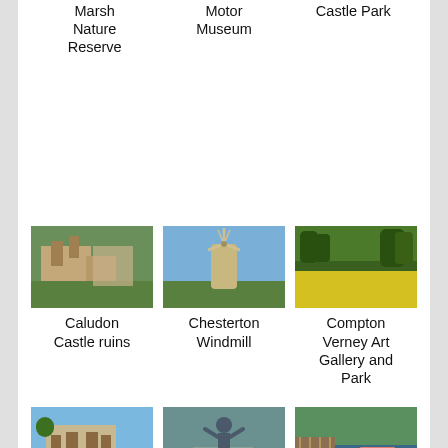Marsh Nature Reserve
Motor Museum
Castle Park
[Figure (photo): Caludon Castle ruins - stone building ruins with green lawn]
Caludon Castle ruins
[Figure (photo): Chesterton Windmill - stone windmill against blue sky]
Chesterton Windmill
[Figure (photo): Compton Verney Art Gallery and Park - yellow flowers field with trees]
Compton Verney Art Gallery and Park
[Figure (photo): Coombe Country Park - stately home with garden]
Coombe Country Park
[Figure (photo): Coventry Boy - statue of a boy with arms raised]
Coventry Boy
[Figure (photo): Coventry Canal - canal with boats and greenery]
Coventry Canal
[Figure (photo): Partial image at bottom left]
[Figure (photo): Partial image at bottom center]
[Figure (photo): Partial image at bottom right]